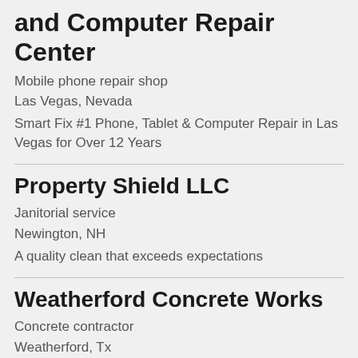and Computer Repair Center
Mobile phone repair shop
Las Vegas, Nevada
Smart Fix #1 Phone, Tablet & Computer Repair in Las Vegas for Over 12 Years
Property Shield LLC
Janitorial service
Newington, NH
A quality clean that exceeds expectations
Weatherford Concrete Works
Concrete contractor
Weatherford, Tx